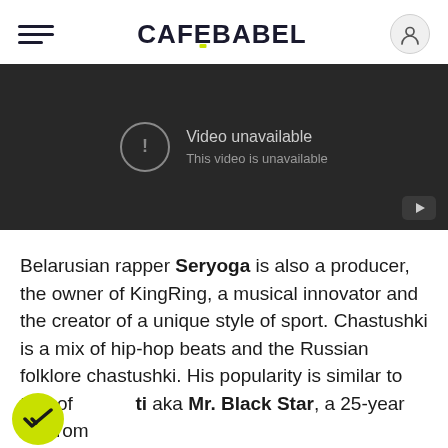CAFEBABEL
[Figure (screenshot): YouTube video embed showing 'Video unavailable — This video is unavailable' message on dark background]
Belarusian rapper Seryoga is also a producer, the owner of KingRing, a musical innovator and the creator of a unique style of sport. Chastushki is a mix of hip-hop beats and the Russian folklore chastushki. His popularity is similar to that of Timati aka Mr. Black Star, a 25-year old from